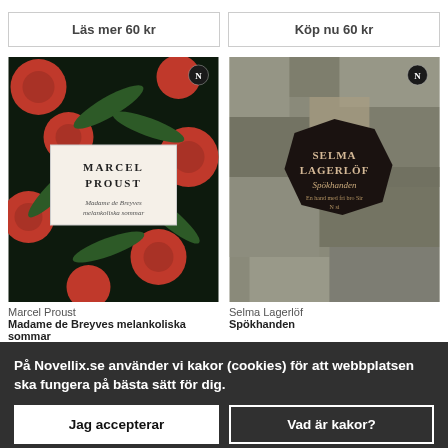Läs mer 60 kr
Köp nu 60 kr
[Figure (photo): Book cover: Marcel Proust - Madame de Breyves melankoliska sommar, dark background with red flowers]
[Figure (photo): Book cover: Selma Lagerlöf - Spökhanden, rocky textured background with dark octagonal center]
Marcel Proust
Selma Lagerlöf
Madame de Breyves melankoliska sommar
Spökhanden
På Novellix.se använder vi kakor (cookies) för att webbplatsen ska fungera på bästa sätt för dig.
Jag accepterar
Vad är kakor?